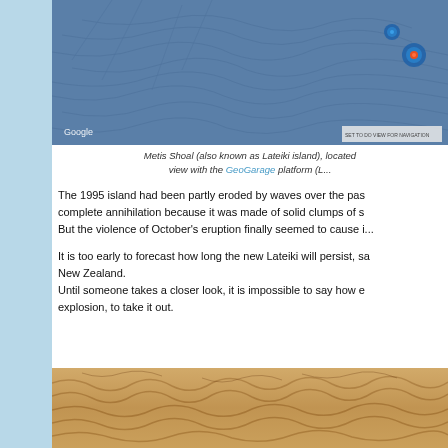[Figure (map): Google Maps satellite/bathymetric view showing Metis Shoal (Lateiki island) area with blue ocean floor topography and island markers]
Metis Shoal (also known as Lateiki island), located view with the GeoGarage platform (L...
The 1995 island had been partly eroded by waves over the past complete annihilation because it was made of solid clumps of s... But the violence of October's eruption finally seemed to cause i...
It is too early to forecast how long the new Lateiki will persist, sa... New Zealand.
Until someone takes a closer look, it is impossible to say how e... explosion, to take it out.
[Figure (photo): Aerial or close-up photo of volcanic rock or lava field with orange/brown textured surface]